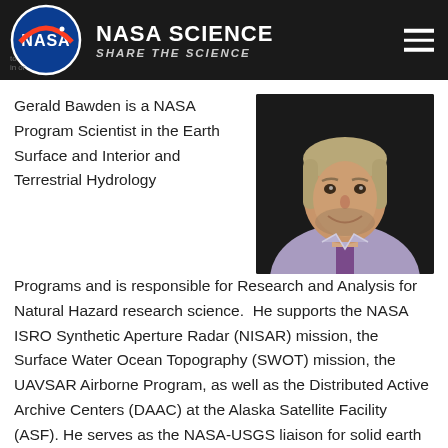NASA SCIENCE — SHARE THE SCIENCE
[Figure (photo): Portrait photo of Gerald Bawden, a man with gray-blond hair and beard, wearing a lavender dress shirt and purple tie, smiling against a dark background.]
Gerald Bawden is a NASA Program Scientist in the Earth Surface and Interior and Terrestrial Hydrology Programs and is responsible for Research and Analysis for Natural Hazard research science.  He supports the NASA ISRO Synthetic Aperture Radar (NISAR) mission, the Surface Water Ocean Topography (SWOT) mission, the UAVSAR Airborne Program, as well as the Distributed Active Archive Centers (DAAC) at the Alaska Satellite Facility (ASF). He serves as the NASA-USGS liaison for solid earth and hydrology.